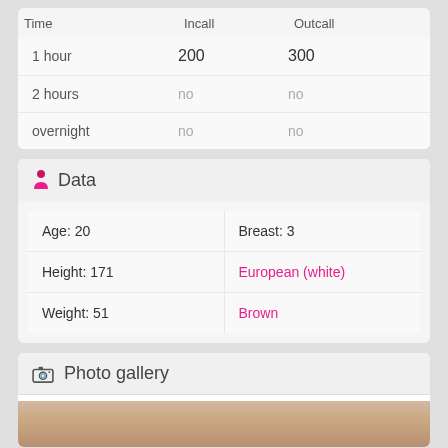| Time | Incall | Outcall |
| --- | --- | --- |
| 1 hour | 200 | 300 |
| 2 hours | no | no |
| overnight | no | no |
Data
| Age: 20 | Breast: 3 |
| Height: 171 | European (white) |
| Weight: 51 | Brown |
Photo gallery
[Figure (photo): Partial photo visible at bottom of page, showing warm skin tones]